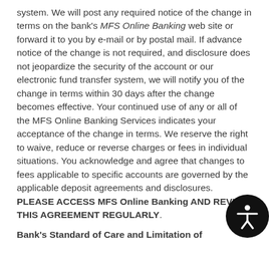system. We will post any required notice of the change in terms on the bank's MFS Online Banking web site or forward it to you by e-mail or by postal mail. If advance notice of the change is not required, and disclosure does not jeopardize the security of the account or our electronic fund transfer system, we will notify you of the change in terms within 30 days after the change becomes effective. Your continued use of any or all of the MFS Online Banking Services indicates your acceptance of the change in terms. We reserve the right to waive, reduce or reverse charges or fees in individual situations. You acknowledge and agree that changes to fees applicable to specific accounts are governed by the applicable deposit agreements and disclosures. PLEASE ACCESS MFS Online Banking AND REVIEW THIS AGREEMENT REGULARLY.
Bank's Standard of Care and Limitation of